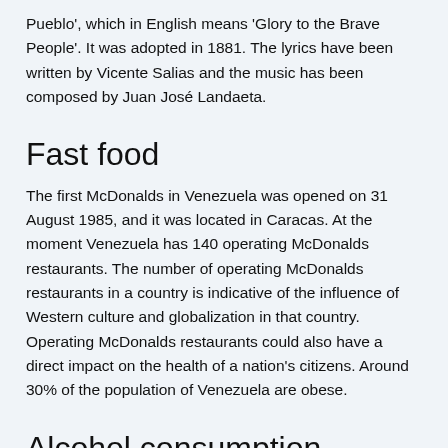Pueblo', which in English means 'Glory to the Brave People'. It was adopted in 1881. The lyrics have been written by Vicente Salias and the music has been composed by Juan José Landaeta.
Fast food
The first McDonalds in Venezuela was opened on 31 August 1985, and it was located in Caracas. At the moment Venezuela has 140 operating McDonalds restaurants. The number of operating McDonalds restaurants in a country is indicative of the influence of Western culture and globalization in that country. Operating McDonalds restaurants could also have a direct impact on the health of a nation's citizens. Around 30% of the population of Venezuela are obese.
Alcohol consumption
Each year, the people of Venezuela consume 1.3 litre of alcohol